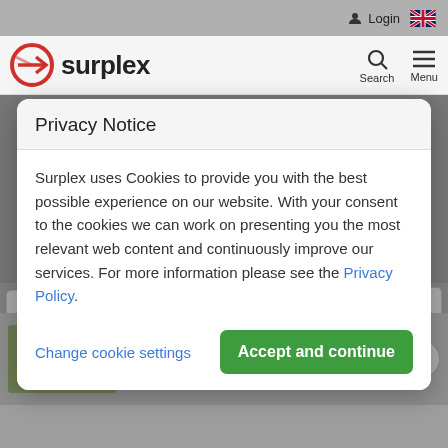Login
[Figure (logo): Surplex logo with red circle and stylized arrow, with text 'surplex']
Privacy Notice
Surplex uses Cookies to provide you with the best possible experience on our website. With your consent to the cookies we can work on presenting you the most relevant web content and continuously improve our services. For more information please see the Privacy Policy.
Change cookie settings
Accept and continue
Relevance  page 1/3
Workbench (5x)